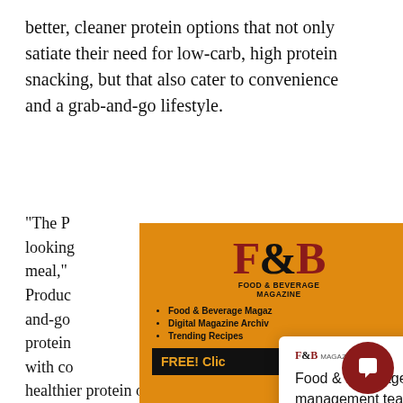better, cleaner protein options that not only satiate their need for low-carb, high protein snacking, but that also cater to convenience and a grab-and-go lifestyle.
“The P[roduct] looking [for] or meal,” [said] Produc[t] and-go protein with co[nsider,] healthier protein option.”
[Figure (screenshot): F&B Magazine subscription popup overlay with orange left panel (logo, links, FREE button), navy right panel (Access your FREE Subscription to the Go-), and a white chat popup (Food & Beverage Magazine's asset management team is happy to help with any questions), plus a dark red chat button in the bottom right.]